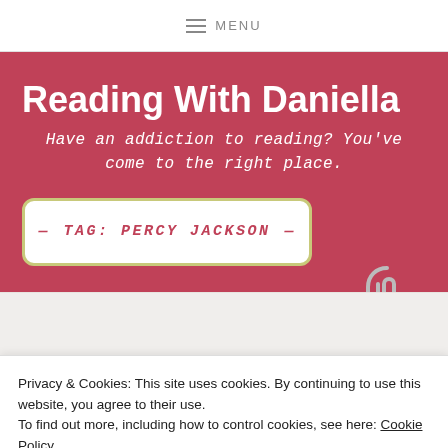≡ MENU
Reading With Daniella
Have an addiction to reading? You've come to the right place.
TAG: PERCY JACKSON
Privacy & Cookies: This site uses cookies. By continuing to use this website, you agree to their use.
To find out more, including how to control cookies, see here: Cookie Policy
Close and accept